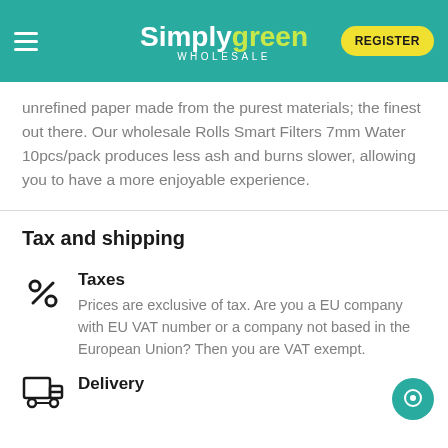SimplyGreen WHOLESALE — REGISTER
unrefined paper made from the purest materials; the finest out there. Our wholesale Rolls Smart Filters 7mm Water 10pcs/pack produces less ash and burns slower, allowing you to have a more enjoyable experience.
Tax and shipping
Taxes
Prices are exclusive of tax. Are you a EU company with EU VAT number or a company not based in the European Union? Then you are VAT exempt.
Delivery